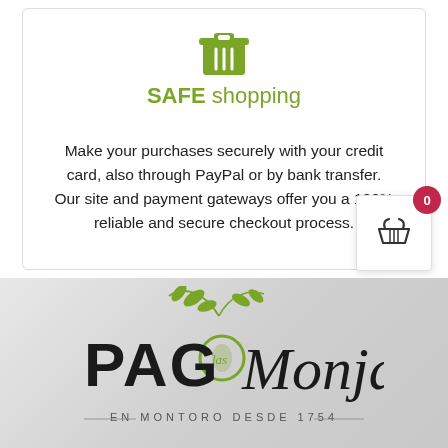[Figure (illustration): Green shopping cart / trash can icon at top of card]
SAFE shopping
Make your purchases securely with your credit card, also through PayPal or by bank transfer. Our site and payment gateways offer you a 100% reliable and secure checkout process.
[Figure (illustration): Floating cart button with red badge showing 0 and a basket icon]
[Figure (logo): Pago las Monjas logo with olive branch — EN MONTORO DESDE 1754]